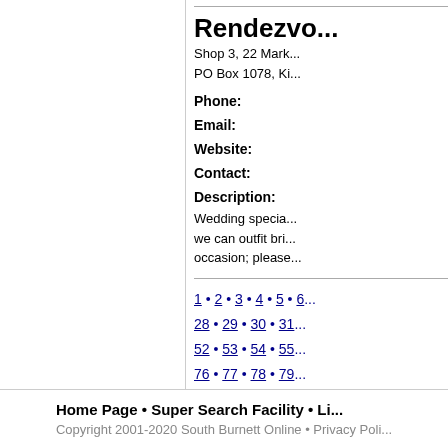Rendezvou...
Shop 3, 22 Mark...
PO Box 1078, Ki...
Phone:
Email:
Website:
Contact:
Description: Wedding specia... we can outfit bri... occasion; please...
1 • 2 • 3 • 4 • 5 • 6...
28 • 29 • 30 • 31...
52 • 53 • 54 • 55...
76 • 77 • 78 • 79...
Home Page • Super Search Facility • Li...
Copyright 2001-2020 South Burnett Online • Privacy Poli...